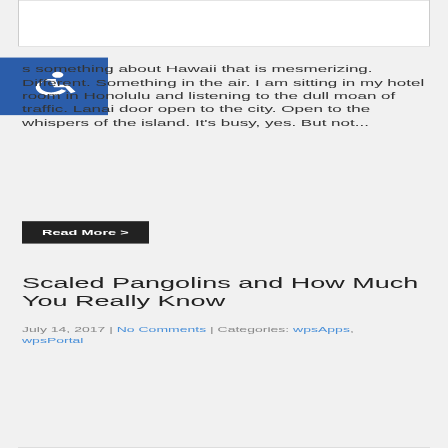[Figure (illustration): White rectangle box at top of page, partially visible]
[Figure (logo): Blue square with white wheelchair accessibility icon]
s something about Hawaii that is mesmerizing. Different. Something in the air. I am sitting in my hotel room in Honolulu and listening to the dull moan of traffic. Lanai door open to the city. Open to the whispers of the island. It's busy, yes. But not...
Read More >
Scaled Pangolins and How Much You Really Know
July 14, 2017 | No Comments | Categories: wpsApps, wpsPortal